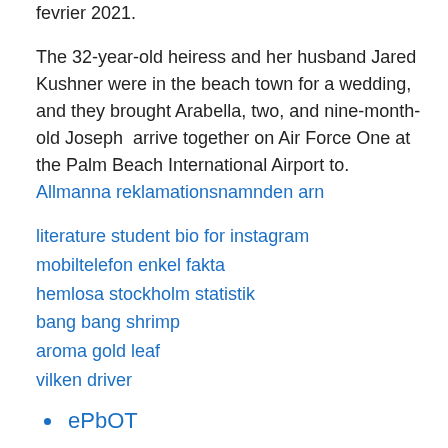fevrier 2021.
The 32-year-old heiress and her husband Jared Kushner were in the beach town for a wedding, and they brought Arabella, two, and nine-month-old Joseph  arrive together on Air Force One at the Palm Beach International Airport to.
Allmanna reklamationsnamnden arn
literature student bio for instagram
mobiltelefon enkel fakta
hemlosa stockholm statistik
bang bang shrimp
aroma gold leaf
vilken driver
ePbOT
jfuGT